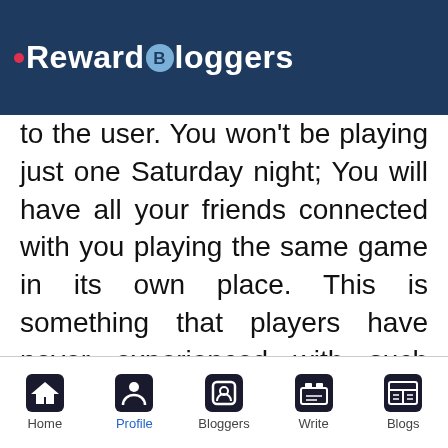Reward Bloggers
to the user. You won't be playing just one Saturday night; You will have all your friends connected with you playing the same game in its own place. This is something that players have never experienced with such magnitude before.

We can see that this revolution is happening quickly due to various news and stories that we see around us. For example, the highest-grossing iPhone app in 2009 was a small app provided by El...
Home  Profile  Bloggers  Write  Blogs